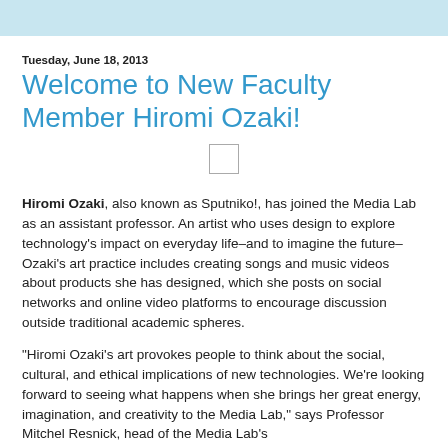Tuesday, June 18, 2013
Welcome to New Faculty Member Hiromi Ozaki!
[Figure (other): Small placeholder image box]
Hiromi Ozaki, also known as Sputniko!, has joined the Media Lab as an assistant professor. An artist who uses design to explore technology's impact on everyday life–and to imagine the future–Ozaki's art practice includes creating songs and music videos about products she has designed, which she posts on social networks and online video platforms to encourage discussion outside traditional academic spheres.
"Hiromi Ozaki's art provokes people to think about the social, cultural, and ethical implications of new technologies. We're looking forward to seeing what happens when she brings her great energy, imagination, and creativity to the Media Lab," says Professor Mitchel Resnick, head of the Media Lab's...